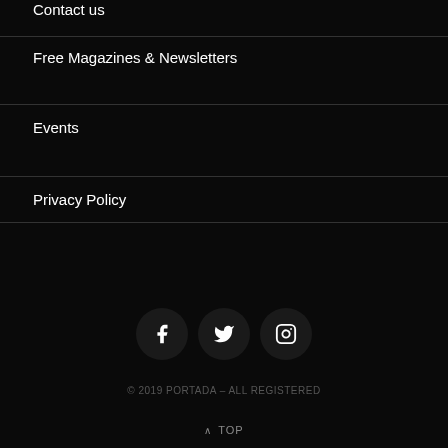Contact us
Free Magazines & Newsletters
Events
Privacy Policy
[Figure (infographic): Social media icons: Facebook, Twitter, Instagram in dark circular buttons]
© 2019 PORTADA – ALL REGISTERED
^ TOP